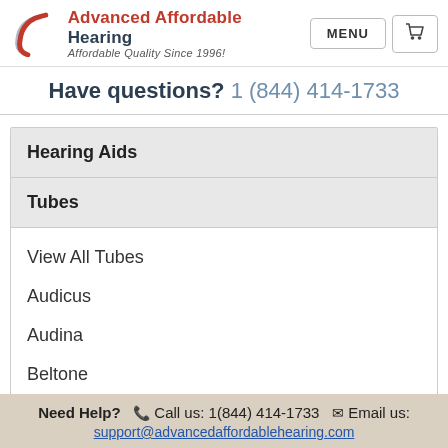Advanced Affordable Hearing — Affordable Quality Since 1996!
Have questions? 1 (844) 414-1733
Hearing Aids
Tubes
View All Tubes
Audicus
Audina
Beltone
Century
Need Help? Call us: 1(844) 414-1733  Email us: support@advancedaffordablehearing.com